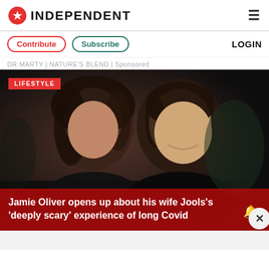INDEPENDENT
Contribute | Subscribe | LOGIN
DR MARTY | NATURE'S BLEND | Sponsored
[Figure (photo): A man and woman posing together at a dark event background. Jamie Oliver and Jools Oliver.]
Jamie Oliver opens up about his wife Jools's 'deeply scary' experience of long Covid